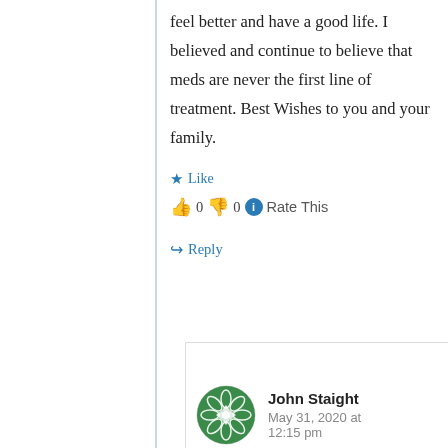feel better and have a good life. I believed and continue to believe that meds are never the first line of treatment. Best Wishes to you and your family.
★ Like
👍 0 👎 0 ℹ Rate This
↪ Reply
John Staight
May 31, 2020 at 12:15 pm